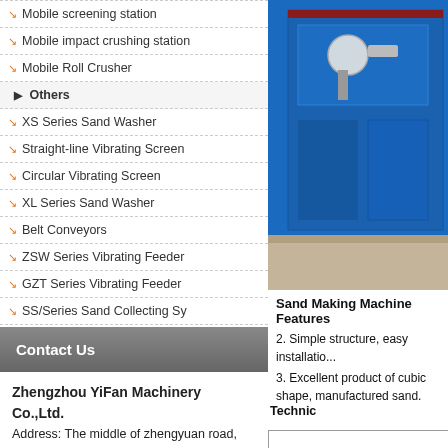Mobile screening station
Mobile impact crushing station
Mobile Roll Crusher
Others
XS Series Sand Washer
Straight-line Vibrating Screen
Circular Vibrating Screen
XL Series Sand Washer
Belt Conveyors
ZSW Series Vibrating Feeder
GZT Series Vibrating Feeder
SS/Series Sand Collecting Sy
Contact Us
Zhengzhou YiFan Machinery Co.,Ltd.
Address: The middle of zhengyuan road, xingyang eastern development zone, zhengzhou, PRC
Tel: +86-371-64966831
Fax: +86-371-64628872
E-mail: yifanc@yfmac.com
[Figure (photo): Blue industrial sand making machine in a factory setting]
Sand Making Machine Features
2. Simple structure, easy installation...
3. Excellent product of cubic shape, manufactured sand.